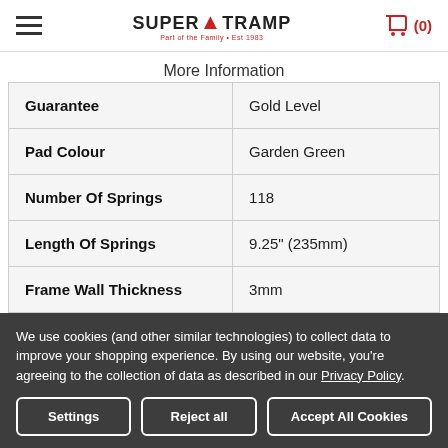[Figure (logo): Super Tramp logo with hamburger menu and shopping cart icon showing (0) items]
More Information
| Guarantee | Gold Level |
| Pad Colour | Garden Green |
| Number Of Springs | 118 |
| Length Of Springs | 9.25" (235mm) |
| Frame Wall Thickness | 3mm |
We use cookies (and other similar technologies) to collect data to improve your shopping experience. By using our website, you're agreeing to the collection of data as described in our Privacy Policy.